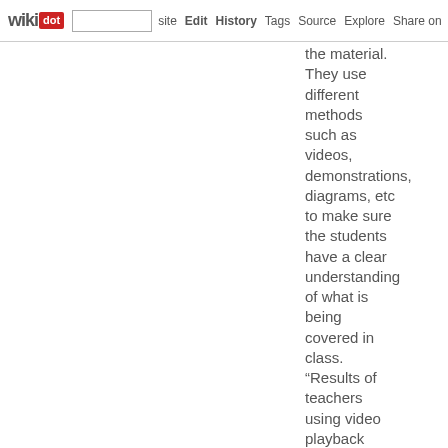wikidot | site | Edit | History | Tags | Source | Explore | Share on [Twitter]
the material. They use different methods such as videos, demonstrations, diagrams, etc to make sure the students have a clear understanding of what is being covered in class. “Results of teachers using video playback suggest that the digital video innovation